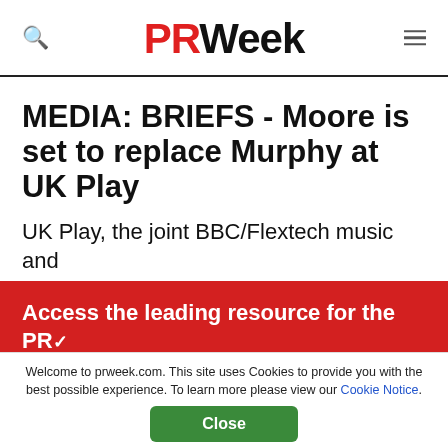PRWeek
MEDIA: BRIEFS - Moore is set to replace Murphy at UK Play
UK Play, the joint BBC/Flextech music and
[Figure (infographic): Red promotional banner: 'Access the leading resource for the PR and communications industry.' with a 'Join Free' black rounded button]
Welcome to prweek.com. This site uses Cookies to provide you with the best possible experience. To learn more please view our Cookie Notice.
Close